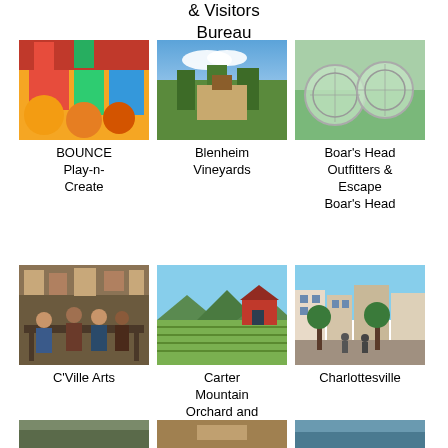& Visitors Bureau
[Figure (photo): Colorful bounce house with orange pumpkins and rainbow colors]
BOUNCE Play-n-Create
[Figure (photo): Blenheim Vineyards with buildings and trees under blue sky]
Blenheim Vineyards
[Figure (photo): Transparent zorb balls at Boar's Head Outfitters]
Boar's Head Outfitters & Escape Boar's Head
[Figure (photo): Group of people at C'Ville Arts gallery]
C'Ville Arts
[Figure (photo): Carter Mountain Orchard with vineyard rows and red barn]
Carter Mountain Orchard and Country Store
[Figure (photo): Charlottesville downtown street with shops and pedestrians]
Charlottesville
[Figure (photo): Partially visible image at bottom left]
[Figure (photo): Partially visible image at bottom center]
[Figure (photo): Partially visible image at bottom right]